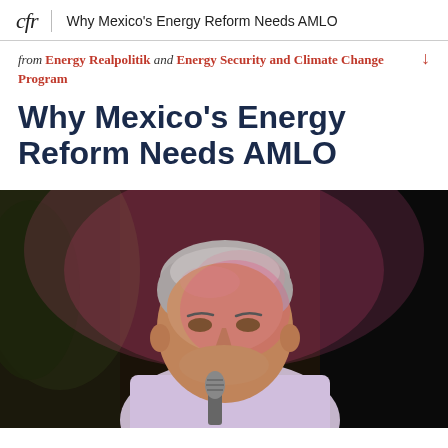cfr | Why Mexico's Energy Reform Needs AMLO
from Energy Realpolitik and Energy Security and Climate Change Program
Why Mexico's Energy Reform Needs AMLO
[Figure (photo): A gray-haired man speaking into a microphone, lit with pink/red stage lighting against a dark background.]